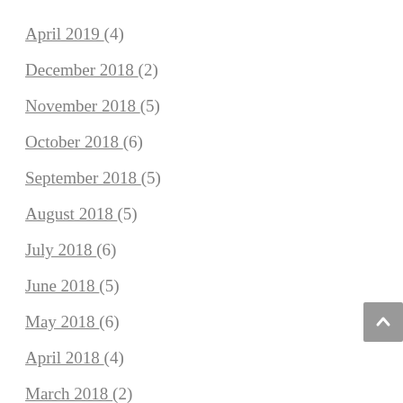April 2019 (4)
December 2018 (2)
November 2018 (5)
October 2018 (6)
September 2018 (5)
August 2018 (5)
July 2018 (6)
June 2018 (5)
May 2018 (6)
April 2018 (4)
March 2018 (2)